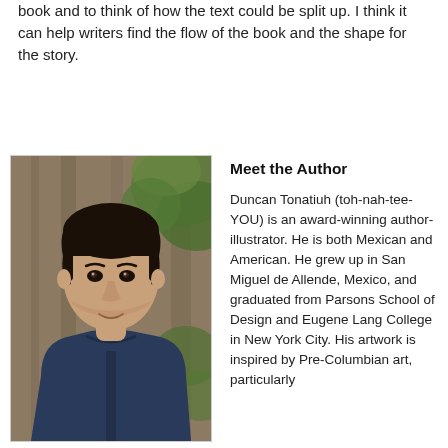book and to think of how the text could be split up. I think it can help writers find the flow of the book and the shape for the story.
[Figure (photo): Headshot photo of Duncan Tonatiuh, a young man with dark hair wearing a navy blue zip-up fleece, standing in front of a tree trunk with green foliage in the background.]
Meet the Author
Duncan Tonatiuh (toh-nah-tee-YOU) is an award-winning author-illustrator. He is both Mexican and American. He grew up in San Miguel de Allende, Mexico, and graduated from Parsons School of Design and Eugene Lang College in New York City. His artwork is inspired by Pre-Columbian art, particularly